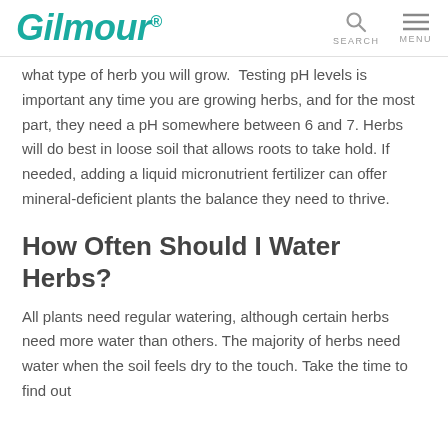Gilmour
what type of herb you will grow. Testing pH levels is important any time you are growing herbs, and for the most part, they need a pH somewhere between 6 and 7. Herbs will do best in loose soil that allows roots to take hold. If needed, adding a liquid micronutrient fertilizer can offer mineral-deficient plants the balance they need to thrive.
How Often Should I Water Herbs?
All plants need regular watering, although certain herbs need more water than others. The majority of herbs need water when the soil feels dry to the touch. Take the time to find out